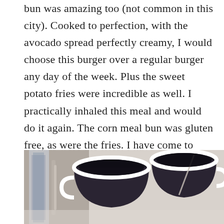bun was amazing too (not common in this city). Cooked to perfection, with the avocado spread perfectly creamy, I would choose this burger over a regular burger any day of the week. Plus the sweet potato fries were incredible as well. I practically inhaled this meal and would do it again. The corn meal bun was gluten free, as were the fries. I have come to realize that all food at Paper Island is excellent. * Not pictured: I got to try my friend's fries that were fried in duckfat — insanely good. *
[Figure (photo): Photo showing two white coffee cups with dark liquid and a bottle or container on the left side, on a light surface]